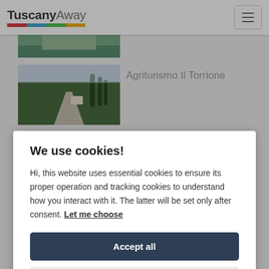[Figure (logo): TuscanyAway logo with colored bar underline and hamburger menu button]
[Figure (photo): Partial thumbnail of a green landscape at top of page]
Agriturismo Il Torrione
[Figure (photo): Photo of a rural road with trees and cypress in Tuscany]
We use cookies!
Hi, this website uses essential cookies to ensure its proper operation and tracking cookies to understand how you interact with it. The latter will be set only after consent. Let me choose
Accept all
Reject all
[Figure (photo): Partial thumbnail of a landscape at bottom of page]